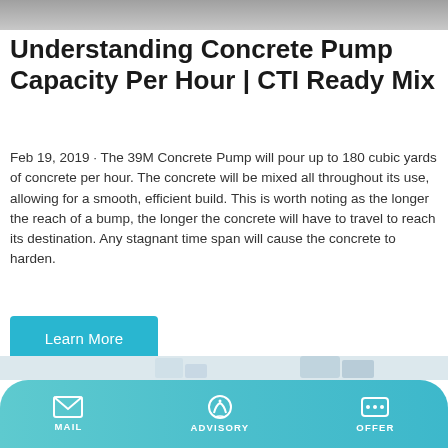[Figure (photo): Top portion of a concrete or industrial site photo, gray/overcast sky]
Understanding Concrete Pump Capacity Per Hour | CTI Ready Mix
Feb 19, 2019 · The 39M Concrete Pump will pour up to 180 cubic yards of concrete per hour. The concrete will be mixed all throughout its use, allowing for a smooth, efficient build. This is worth noting as the longer the reach of a bump, the longer the concrete will have to travel to reach its destination. Any stagnant time span will cause the concrete to harden.
[Figure (other): A cyan/teal button labeled Learn More]
[Figure (photo): Industrial concrete silo towers with blue and white coloring and red flags on top, light gray background]
MAIL   ADVISORY   OFFER